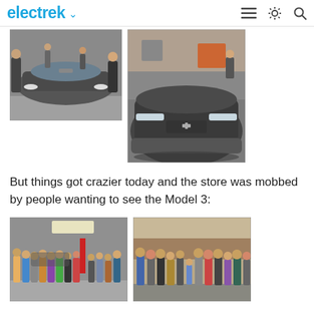electrek
[Figure (photo): Two photos of a dark Tesla Model 3 electric car on display at a Tesla store showroom, front-facing views]
But things got crazier today and the store was mobbed by people wanting to see the Model 3:
[Figure (photo): Two photos showing crowds of people inside and outside a Tesla store, gathered to see the Model 3]
We are not exactly talking about the level of impressive lines